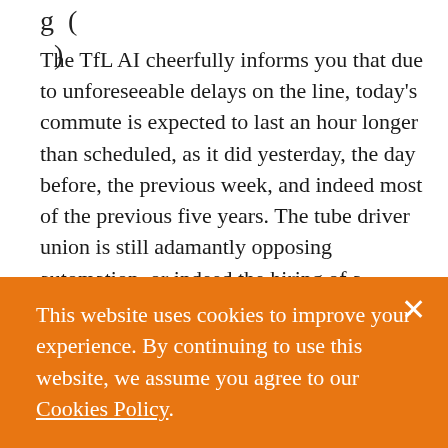g … )
The TfL AI cheerfully informs you that due to unforeseeable delays on the line, today's commute is expected to last an hour longer than scheduled, as it did yesterday, the day before, the previous week, and indeed most of the previous five years. The tube driver union is still adamantly opposing automation, or indeed the hiring of a second driver, while the rail replacement bus service is being
This website uses cookies to improve your experience. By continuing to use this website, we assume you agree to our Cookies Policy.